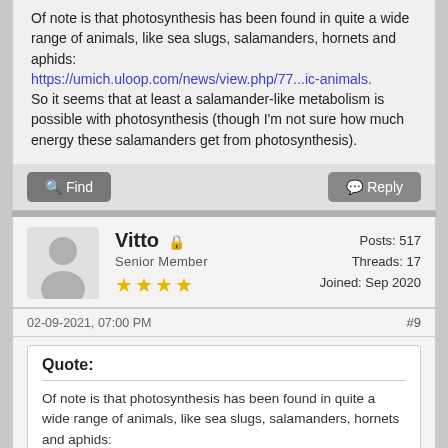Of note is that photosynthesis has been found in quite a wide range of animals, like sea slugs, salamanders, hornets and aphids: https://umich.uloop.com/news/view.php/77...ic-animals. So it seems that at least a salamander-like metabolism is possible with photosynthesis (though I'm not sure how much energy these salamanders get from photosynthesis).
Find | Reply
Vitto
Senior Member
★★★★
Posts: 517
Threads: 17
Joined: Sep 2020
02-09-2021, 07:00 PM #9
Quote:
Of note is that photosynthesis has been found in quite a wide range of animals, like sea slugs, salamanders, hornets and aphids: